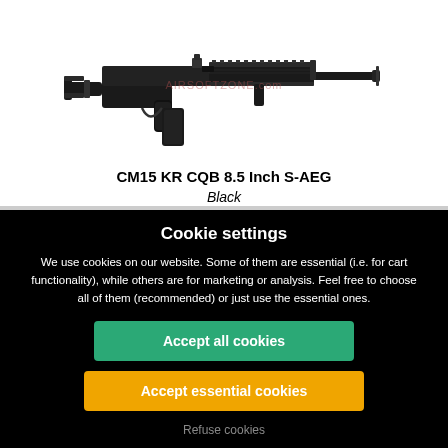[Figure (photo): Product photo of CM15 KR CQB 8.5 Inch S-AEG airsoft rifle in black, shown in profile view with watermark text overlaid]
CM15 KR CQB 8.5 Inch S-AEG
Black
Cookie settings
We use cookies on our website. Some of them are essential (i.e. for cart functionality), while others are for marketing or analysis. Feel free to choose all of them (recommended) or just use the essential ones.
Accept all cookies
Accept essential cookies
Refuse cookies